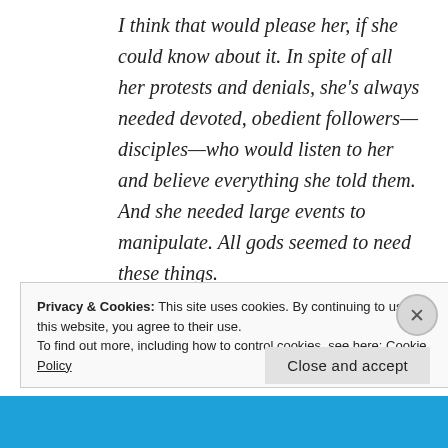I think that would please her, if she could know about it. In spite of all her protests and denials, she's always needed devoted, obedient followers—disciples—who would listen to her and believe everything she told them. And she needed large events to manipulate. All gods seemed to need these things.
Privacy & Cookies: This site uses cookies. By continuing to use this website, you agree to their use.
To find out more, including how to control cookies, see here: Cookie Policy
Close and accept